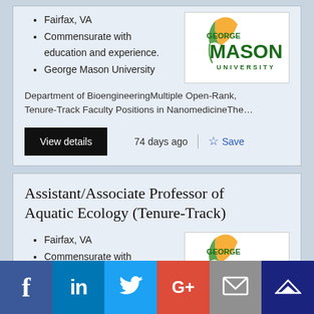Fairfax, VA
Commensurate with education and experience.
George Mason University
[Figure (logo): George Mason University logo with green text and yellow/gold feather graphic]
Department of BioengineeringMultiple Open-Rank, Tenure-Track Faculty Positions in NanomedicineThe…
View details
74 days ago
Save
Assistant/Associate Professor of Aquatic Ecology (Tenure-Track)
Fairfax, VA
Commensurate with
[Figure (logo): George Mason University logo partially visible]
[Figure (infographic): Social media sharing bar with Facebook, LinkedIn, Twitter, Google+, Email, and crown/Mymailco icons]